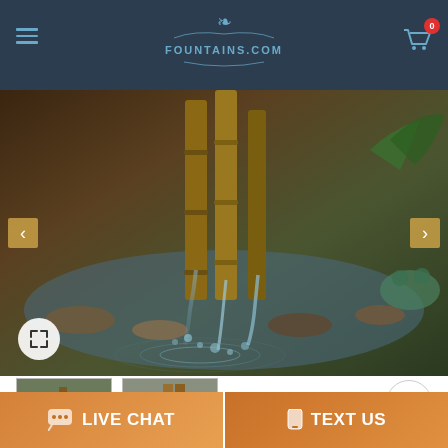FOUNTAINS.COM
[Figure (photo): Close-up photo of bamboo fountain with water splashing over stones in a garden pond setting]
[Figure (photo): Thumbnail 1: garden fountain with water wheel]
[Figure (photo): Thumbnail 2: outdoor bamboo pole fountain structure]
[Figure (infographic): Find a Local Installer badge with fountain and magnifier icon]
[Figure (infographic): Tax Free Purchase Excluding Texas circular badge with TAX crossed out]
[Figure (infographic): Free Delivery badge with delivery truck icon]
LIVE CHAT
TEXT US